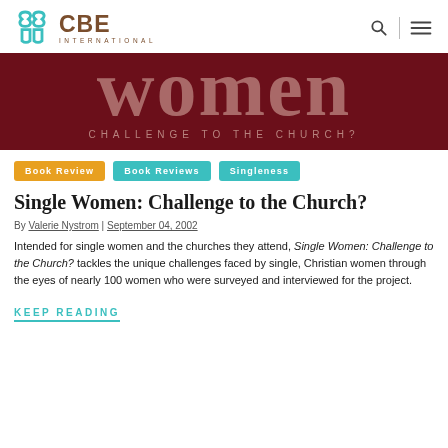CBE International
[Figure (illustration): Dark red/maroon book cover image showing the word 'women' in large letters and subtitle 'CHALLENGE TO THE CHURCH?' in smaller caps below]
Book Review
Book Reviews
Singleness
Single Women: Challenge to the Church?
By Valerie Nystrom | September 04, 2002
Intended for single women and the churches they attend, Single Women: Challenge to the Church? tackles the unique challenges faced by single, Christian women through the eyes of nearly 100 women who were surveyed and interviewed for the project.
KEEP READING